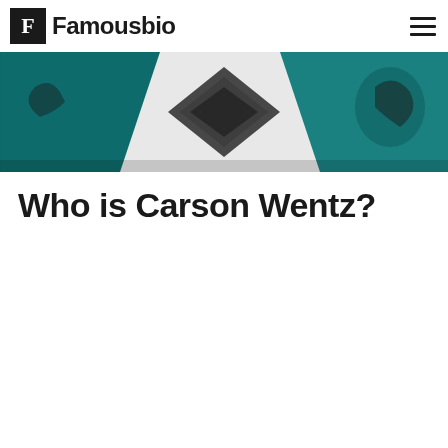Famousbio
[Figure (photo): Close-up of a person wearing a teal/dark green Philadelphia Eagles NFL jersey with the team logo visible, showing the collar and upper chest area of the uniform against a light background.]
Who is Carson Wentz?